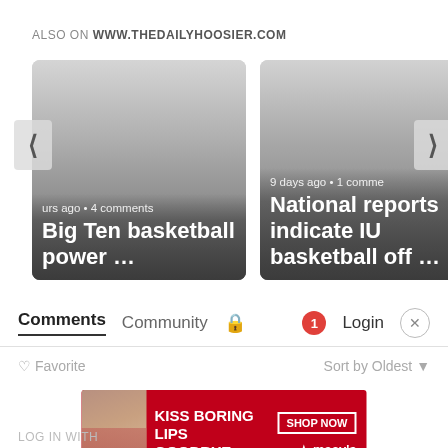ALSO ON WWW.THEDAILYHOOSIER.COM
[Figure (screenshot): Two article card thumbnails. Left card: '…urs ago • 4 comments' / 'Big Ten basketball power …'. Right card: '9 days ago • 1 comme…' / 'National reports indicate IU basketball off …'. Left navigation arrow on far left, right navigation arrow on far right.]
Comments  Community  🔒  1  Login  ✕
♡ Favorite
Sort by Oldest ▾
[Figure (photo): Macy's advertisement banner: 'KISS BORING LIPS GOODBYE' with woman's face and red lips, SHOP NOW button and Macy's star logo]
LOG IN WITH